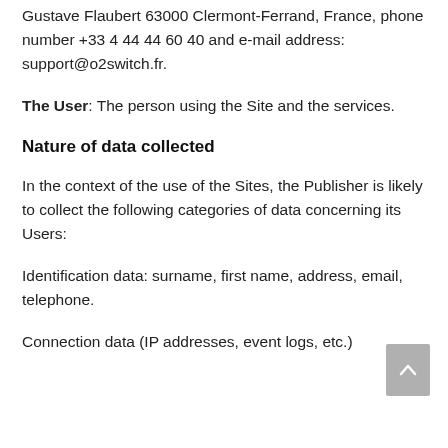Gustave Flaubert 63000 Clermont-Ferrand, France, phone number +33 4 44 44 60 40 and e-mail address: support@o2switch.fr.
The User: The person using the Site and the services.
Nature of data collected
In the context of the use of the Sites, the Publisher is likely to collect the following categories of data concerning its Users:
Identification data: surname, first name, address, email, telephone.
Connection data (IP addresses, event logs, etc.)